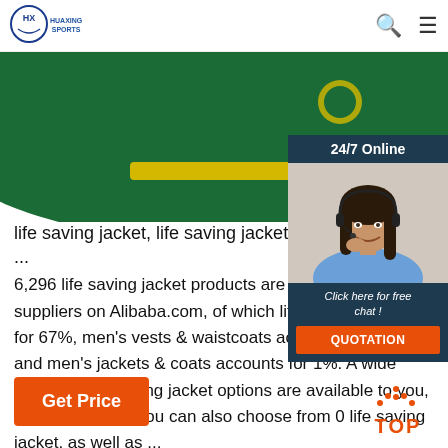HUAXING SPORTS
[Figure (photo): Green and yellow life saving jacket product photo, top portion visible against white background]
[Figure (photo): 24/7 Online chat panel with woman wearing headset, dark navy background, 'Click here for free chat!' text and orange QUOTATION button]
life saving jacket, life saving jacket Sup...
6,296 life saving jacket products are offered for sale by suppliers on Alibaba.com, of which life vest accounts for 67%, men's vests & waistcoats accounts for 1%, and men's jackets & coats accounts for 1%. A wide variety of life saving jacket options are available to you, such as unisex. You can also choose from 0 life saving jacket, as well as ...
Get Price